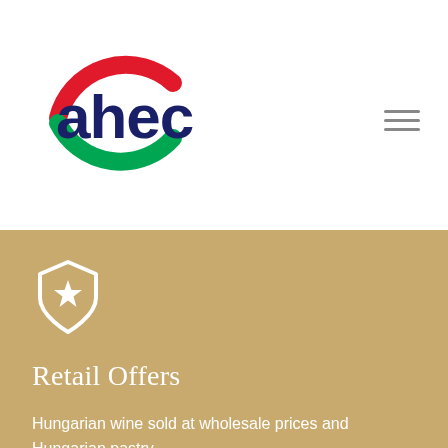[Figure (logo): AHEC logo: circular design with red arc on top-left, green arc on bottom-right, and dark navy text 'ahec' in the center]
[Figure (other): Hamburger/menu icon with three horizontal lines]
[Figure (other): White shield icon with a star in the center, on golden/tan background]
Retail Offers
Hungarian wine sold at wholesale prices and Hungarian pastry